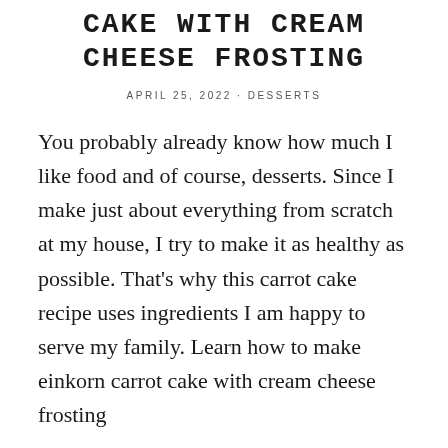CAKE WITH CREAM CHEESE FROSTING
APRIL 25, 2022 · DESSERTS
You probably already know how much I like food and of course, desserts. Since I make just about everything from scratch at my house, I try to make it as healthy as possible. That's why this carrot cake recipe uses ingredients I am happy to serve my family. Learn how to make einkorn carrot cake with cream cheese frosting